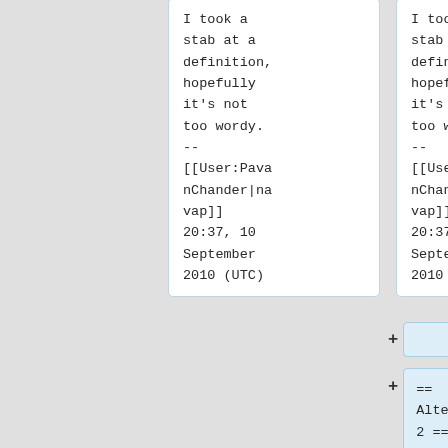I took a stab at a definition, hopefully it's not too wordy. -- [[User:PavanChander|navap]] 20:37, 10 September 2010 (UTC)
I took a stab at a definition, hopefully it's not too wordy. -- [[User:PavanChander|navap]] 20:37, 10 September 2010 (UTC)
== Alternative 2 ==
Here's what we ended